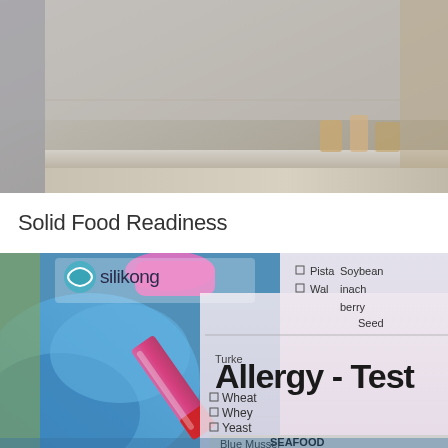[Figure (photo): Kitchen/pantry background photo showing shelves with jars and containers, blurred warm-toned background]
Solid Food Readiness
[Figure (photo): Medical allergy test photo showing a gloved hand holding a blood test tube over an allergy checklist form with items including Soybean, Spinach, berry, Seed, Turkey, Wheat, Whey, Yeast, SEAFOOD section, Blue Mussel, and partial items Pista and Wal. Large bold text reads 'Allergy - Test'. Silikong logo visible in upper left.]